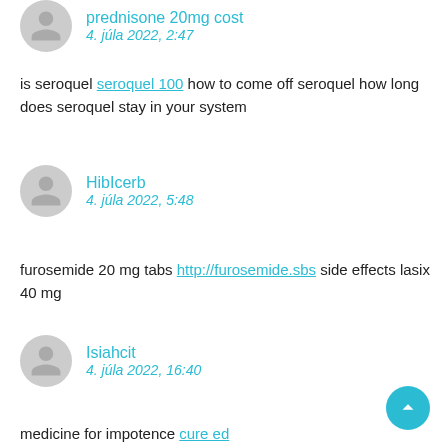prednisone 20mg cost
4. júla 2022, 2:47
is seroquel seroquel 100 how to come off seroquel how long does seroquel stay in your system
HibIcerb
4. júla 2022, 5:48
furosemide 20 mg tabs http://furosemide.sbs side effects lasix 40 mg
Isiahcit
4. júla 2022, 16:40
medicine for impotence cure ed